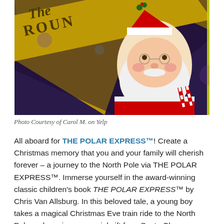[Figure (photo): Photo of Santa Claus in red suit with white beard, holding candy canes, overlaid with a gold-framed sign reading 'The Roundhouse' with holiday decorations. Photo has a diagonal composition.]
Photo Courtesy of Carol M. on Yelp
All aboard for THE POLAR EXPRESS™! Create a Christmas memory that you and your family will cherish forever – a journey to the North Pole via THE POLAR EXPRESS™. Immerse yourself in the award-winning classic children's book THE POLAR EXPRESS™ by Chris Van Allsburg. In this beloved tale, a young boy takes a magical Christmas Eve train ride to the North Pole and receives a special gift from Santa Claus. Characters come to life through this magical holiday journey. The conductor